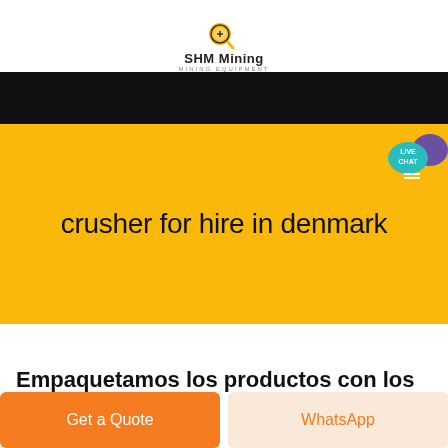[Figure (logo): SHM Mining logo with yellow magnifying glass icon, text 'SHM Mining' and 'MINING EQUIPMENT' below]
[Figure (screenshot): Black navigation bar with Live Chat bubble (teal) and purple chat icon on the top right]
crusher for hire in denmark
Empaquetamos los productos con los
Get a Quote
WhatsApp